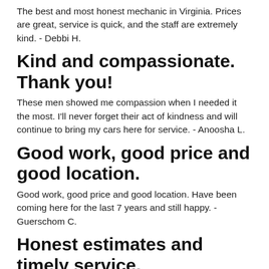The best and most honest mechanic in Virginia. Prices are great, service is quick, and the staff are extremely kind. - Debbi H.
Kind and compassionate. Thank you!
These men showed me compassion when I needed it the most. I'll never forget their act of kindness and will continue to bring my cars here for service. - Anoosha L.
Good work, good price and good location.
Good work, good price and good location. Have been coming here for the last 7 years and still happy. - Guerschom C.
Honest estimates and timely service.
Great local shop. Honest estimates and timely service. Tell the old bearded guy I sent you. - R.J.